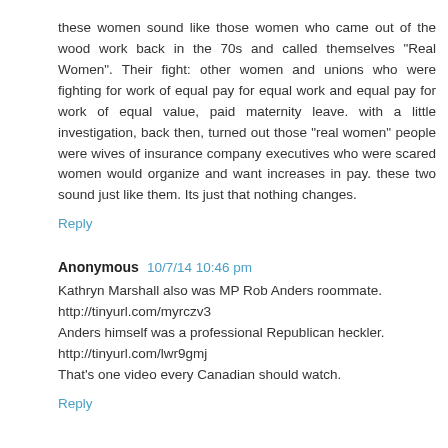these women sound like those women who came out of the wood work back in the 70s and called themselves "Real Women". Their fight: other women and unions who were fighting for work of equal pay for equal work and equal pay for work of equal value, paid maternity leave. with a little investigation, back then, turned out those "real women" people were wives of insurance company executives who were scared women would organize and want increases in pay. these two sound just like them. Its just that nothing changes.
Reply
Anonymous  10/7/14 10:46 pm
Kathryn Marshall also was MP Rob Anders roommate.
http://tinyurl.com/myrczv3
Anders himself was a professional Republican heckler.
http://tinyurl.com/lwr9gmj
That's one video every Canadian should watch.
Reply